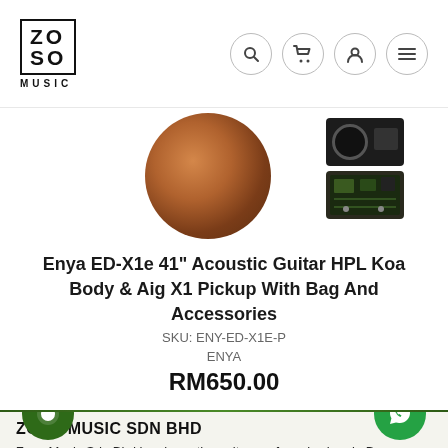ZOSO MUSIC
[Figure (photo): Product image of Enya acoustic guitar body (round wooden circle, Koa finish) and accessory items (pickup and circuit board)]
Enya ED-X1e 41" Acoustic Guitar HPL Koa Body & Aig X1 Pickup With Bag And Accessories
SKU: ENY-ED-X1E-P
ENYA
RM650.00
ZOSO MUSIC SDN BHD
Zoso Music Sdn Bhd has been the epitome of music shop in Borneo since its establishment on 2009. With the rapid expansion all over Sarawak and Sabah, we provide music instrument, PA systems, recording gears and etc for all,